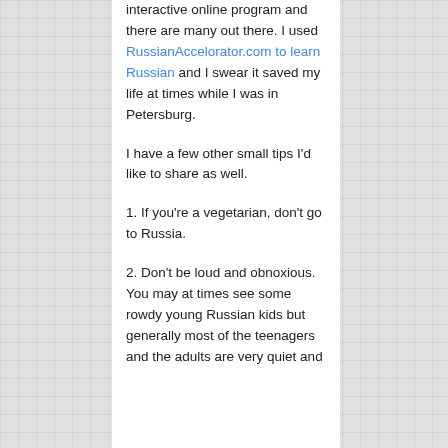interactive online program and there are many out there. I used RussianAccelorator.com to learn Russian and I swear it saved my life at times while I was in Petersburg.
I have a few other small tips I'd like to share as well.
1. If you're a vegetarian, don't go to Russia.
2. Don't be loud and obnoxious. You may at times see some rowdy young Russian kids but generally most of the teenagers and the adults are very quiet and